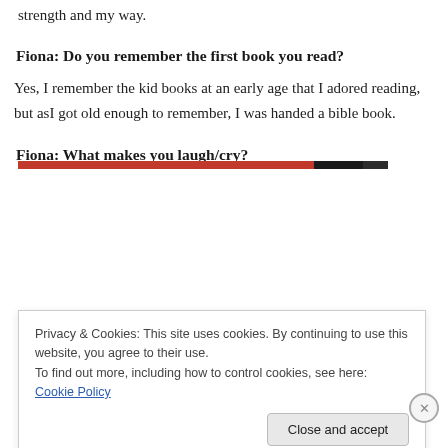strength and my way.
Fiona: Do you remember the first book you read?
Yes, I remember the kid books at an early age that I adored reading, but asI got old enough to remember, I was handed a bible book.
Fiona: What makes you laugh/cry?
Privacy & Cookies: This site uses cookies. By continuing to use this website, you agree to their use.
To find out more, including how to control cookies, see here: Cookie Policy
Close and accept